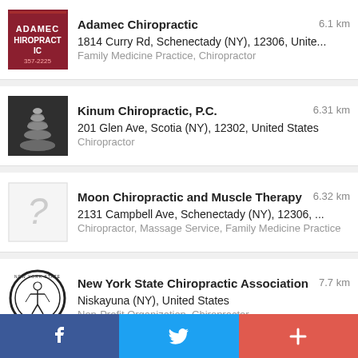Adamec Chiropractic — 6.1 km
1814 Curry Rd, Schenectady (NY), 12306, Unite...
Family Medicine Practice, Chiropractor
Kinum Chiropractic, P.C. — 6.31 km
201 Glen Ave, Scotia (NY), 12302, United States
Chiropractor
Moon Chiropractic and Muscle Therapy — 6.32 km
2131 Campbell Ave, Schenectady (NY), 12306, ...
Chiropractor, Massage Service, Family Medicine Practice
New York State Chiropractic Association — 7.7 km
Niskayuna (NY), United States
Non-Profit Organization, Chiropractor
Thrive Chiropractic — 8.1 km